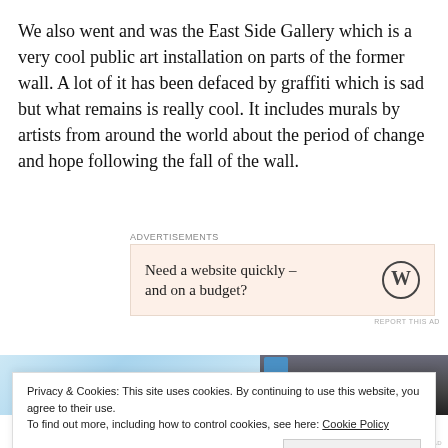We also went and was the East Side Gallery which is a very cool public art installation on parts of the former wall. A lot of it has been defaced by graffiti which is sad but what remains is really cool. It includes murals by artists from around the world about the period of change and hope following the fall of the wall.
Advertisements
[Figure (other): WordPress advertisement banner with text 'Need a website quickly – and on a budget?' and WordPress logo on beige/pink background]
[Figure (photo): Partial photo strip showing a light blue sky/building on the left and a dark urban building/wall on the right]
Privacy & Cookies: This site uses cookies. By continuing to use this website, you agree to their use.
To find out more, including how to control cookies, see here: Cookie Policy
Close and accept